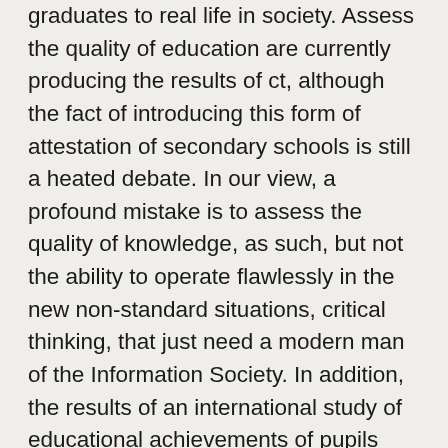graduates to real life in society. Assess the quality of education are currently producing the results of ct, although the fact of introducing this form of attestation of secondary schools is still a heated debate. In our view, a profound mistake is to assess the quality of knowledge, as such, but not the ability to operate flawlessly in the new non-standard situations, critical thinking, that just need a modern man of the Information Society. In addition, the results of an international study of educational achievements of pupils PISA-2006, which was attended by about 400 thousand teenagers from 57 countries, our the country was only the fourth top ten. So, talk about quality education is not necessary. What is the problem? Try in this paper to express their opinions. The Russian school, still faithful to the old Soviet tradition, seeks to fill the heads of his students a large amount of factual information. The formation of a